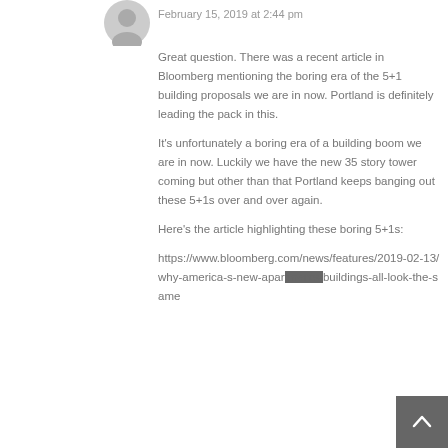[Figure (illustration): Gray avatar/profile icon silhouette]
February 15, 2019 at 2:44 pm
Great question. There was a recent article in Bloomberg mentioning the boring era of the 5+1 building proposals we are in now. Portland is definitely leading the pack in this.
It’s unfortunately a boring era of a building boom we are in now. Luckily we have the new 35 story tower coming but other than that Portland keeps banging out these 5+1s over and over again.
Here’s the article highlighting these boring 5+1s:
https://www.bloomberg.com/news/features/2019-02-13/why-america-s-new-apartments-all-look-the-same